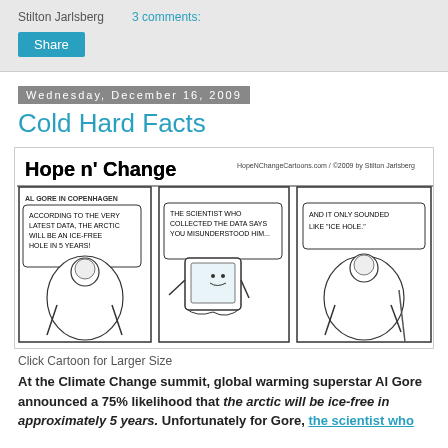Stilton Jarlsberg    3 comments:
Share
Wednesday, December 16, 2009
Cold Hard Facts
[Figure (illustration): Hope n' Change comic strip by Stilton Jarlsberg. Three panels showing Al Gore in Copenhagen. Panel 1: Al Gore in cold weather gear saying 'ACCORDING TO THE VERY LATEST DATA, THE ARCTIC WILL BE AN ICE-FREE HOLE IN 5 YEARS!' Panel 2: An ice block character saying 'THE SCIENTIST WHO COLLECTED THE DATA SAYS YOU MISUNDERSTOOD HIM...' Panel 3: Al Gore again saying 'AND IT ONLY SOUNDED LIKE "ICE HOLE."']
Click Cartoon for Larger Size
At the Climate Change summit, global warming superstar Al Gore announced a 75% likelihood that the arctic will be ice-free in approximately 5 years. Unfortunately for Gore, the scientist who